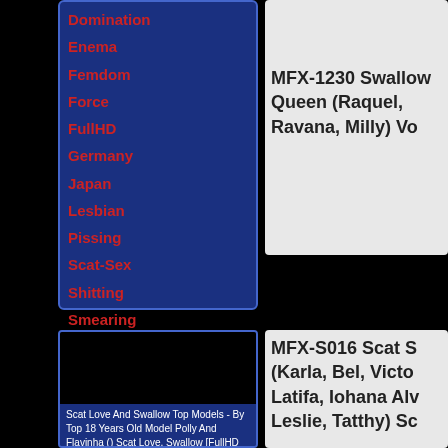Domination
Enema
Femdom
Force
FullHD
Germany
Japan
Lesbian
Pissing
Scat-Sex
Shitting
Smearing
Solo Scat
Toilet Slavery
Vomit
Admin
MFX-1230 Swallow Queen (Raquel, Ravana, Milly) Vo
[Figure (photo): Black thumbnail image area]
Scat Love And Swallow Top Models - By Top 18 Years Old Model Polly And Flavinha () Scat Love, Swallow [FullHD 1080p] SC
MFX-S016 Scat S (Karla, Bel, Victo Latifa, Iohana Alv Leslie, Tatthy) Sc